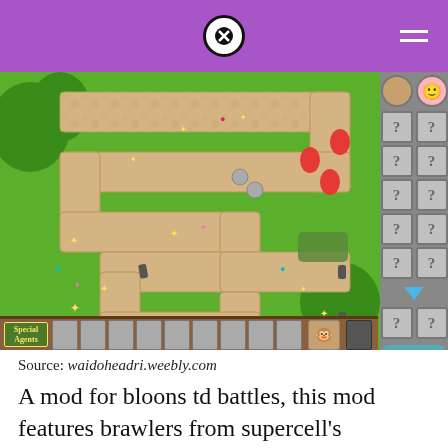[Figure (screenshot): Screenshot of Bloons TD Battles mobile game showing a winding sandy path on green grass with balloons, towers, and a question-mark sidebar tower selection panel on the right.]
Source: waidoheadri.weebly.com
A mod for bloons td battles, this mod features brawlers from supercell's bestselling game brawl. Bloons tower defense is the fifth edition of probably thⓧnost popular tower